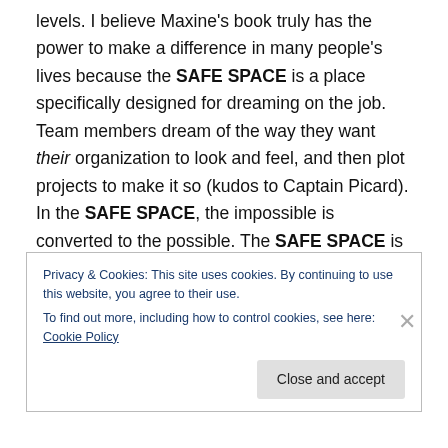levels. I believe Maxine's book truly has the power to make a difference in many people's lives because the SAFE SPACE is a place specifically designed for dreaming on the job. Team members dream of the way they want their organization to look and feel, and then plot projects to make it so (kudos to Captain Picard). In the SAFE SPACE, the impossible is converted to the possible. The SAFE SPACE is the team's think tank, a place for risk-taking. The leader prompts the team to be ridiculous in its thoughts and go for the big ideas. People come in thinking failure is an option, and leave with the confidence
Privacy & Cookies: This site uses cookies. By continuing to use this website, you agree to their use.
To find out more, including how to control cookies, see here: Cookie Policy